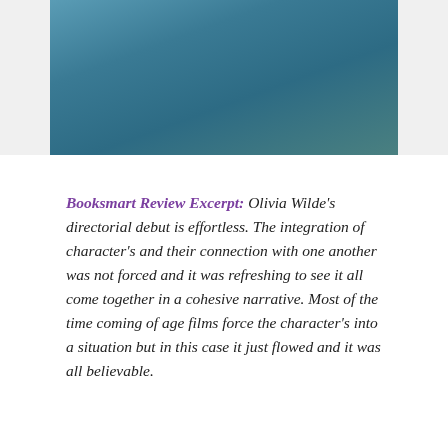[Figure (photo): Photo of two people in teal/blue clothing, cropped at top of page]
Booksmart Review Excerpt: Olivia Wilde's directorial debut is effortless. The integration of character's and their connection with one another was not forced and it was refreshing to see it all come together in a cohesive narrative. Most of the time coming of age films force the character's into a situation but in this case it just flowed and it was all believable.
Advertisements
Advertisements